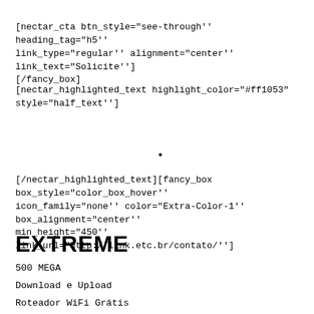[nectar_cta btn_style="see-through'' heading_tag="h5'' link_type="regular'' alignment="center'' link_text="Solicite''] [/fancy_box]
[nectar_highlighted_text highlight_color="#ff1053" style="half_text'']
•
[/nectar_highlighted_text][fancy_box box_style="color_box_hover'' icon_family="none'' color="Extra-Color-1'' box_alignment="center'' min_height="450'' link_url="http://link.etc.br/contato/'']
EXTREME
500 MEGA
Download e Upload
Roteador WiFi Grátis